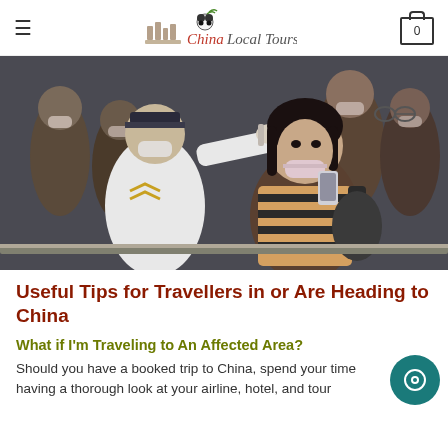China Local Tours
[Figure (photo): Security officer in white uniform and mask checking temperature of a woman with a thermometer gun at a crowded transit checkpoint in China. Many people in background wearing face masks.]
Useful Tips for Travellers in or Are Heading to China
What if I'm Traveling to An Affected Area?
Should you have a booked trip to China, spend your time having a thorough look at your airline, hotel, and tour